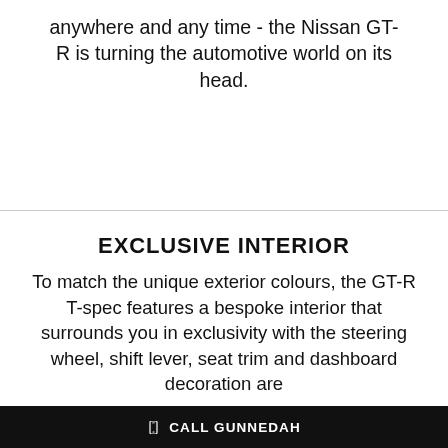anywhere and any time - the Nissan GT-R is turning the automotive world on its head.
EXCLUSIVE INTERIOR
To match the unique exterior colours, the GT-R T-spec features a bespoke interior that surrounds you in exclusivity with the steering wheel, shift lever, seat trim and dashboard decoration are
CALL GUNNEDAH